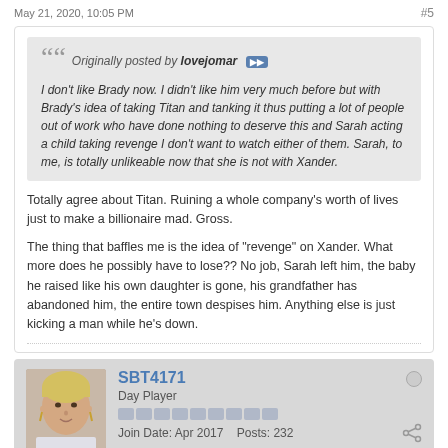May 21, 2020, 10:05 PM    #5
Originally posted by lovejomar
I don't like Brady now. I didn't like him very much before but with Brady's idea of taking Titan and tanking it thus putting a lot of people out of work who have done nothing to deserve this and Sarah acting a child taking revenge I don't want to watch either of them. Sarah, to me, is totally unlikeable now that she is not with Xander.
Totally agree about Titan. Ruining a whole company's worth of lives just to make a billionaire mad. Gross.
The thing that baffles me is the idea of "revenge" on Xander. What more does he possibly have to lose?? No job, Sarah left him, the baby he raised like his own daughter is gone, his grandfather has abandoned him, the entire town despises him. Anything else is just kicking a man while he's down.
SBT4171
Day Player
Join Date: Apr 2017  Posts: 232